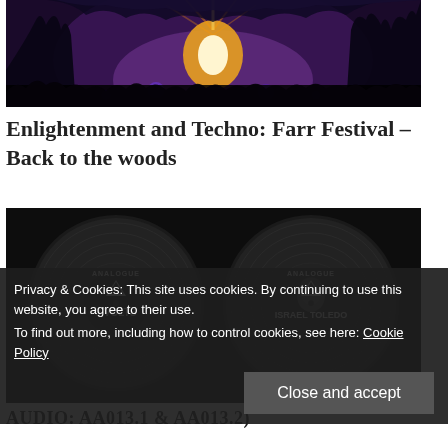[Figure (photo): Festival crowd photo with purple and orange stage lighting through trees at Farr Festival, nighttime outdoor scene]
Enlightenment and Techno: Farr Festival – Back to the woods
[Figure (photo): Two vinyl record sleeves on dark background with Analogue logo; left label shows '9 VOLTS', right label shows 'ISRAEL TOLEDO']
Privacy & Cookies: This site uses cookies. By continuing to use this website, you agree to their use.
To find out more, including how to control cookies, see here: Cookie Policy
Close and accept
AUDIO: AA013.1 & AA013.2)